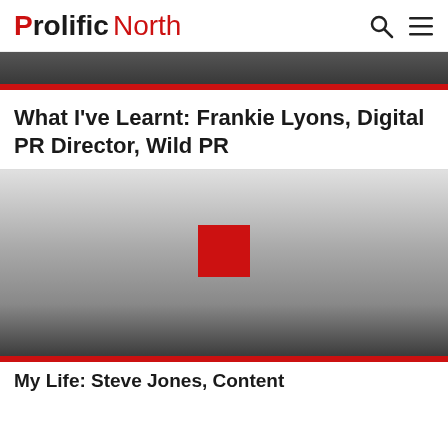Prolific North
What I've Learnt: Frankie Lyons, Digital PR Director, Wild PR
[Figure (photo): Hero image area showing a dark gradient background with a red square logo placeholder in the center, bounded by red accent bars at top and bottom]
This site uses cookies

By continuing to browse, you accept our use of cookies.

Read our Privacy Policy

I agree
My Life: Steve Jones, Content